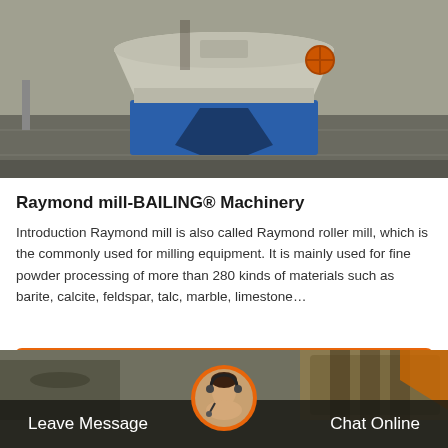[Figure (photo): Photo of a Raymond mill machine in a factory setting, showing a large cone-shaped machine body on a blue steel frame/stand on a concrete floor.]
Raymond mill-BAILING® Machinery
Introduction Raymond mill is also called Raymond roller mill, which is the commonly used for milling equipment. It is mainly used for fine powder processing of more than 280 kinds of materials such as barite, calcite, feldspar, talc, marble, limestone…
Get Price
[Figure (photo): Photo of industrial machinery in a factory, partially visible. Bottom bar shows Leave Message on left, Chat Online on right, with a circular avatar of a customer service representative in the center.]